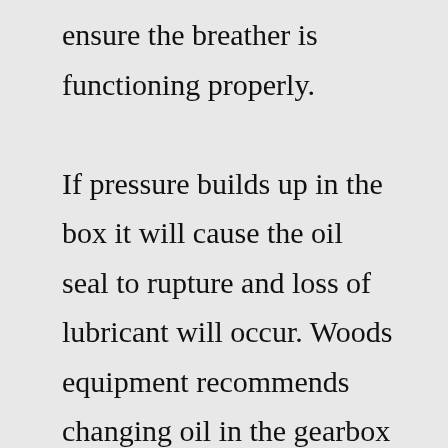ensure the breather is functioning properly. If pressure builds up in the box it will cause the oil seal to rupture and loss of lubricant will occur. Woods equipment recommends changing oil in the gearbox after the first 100 hours of ...May 05, 2009 · If you get the Frontier RC1060, go over the cutter CAREFULLY. Check to ensure ALL of the hardware it TIGHT.....ESPECIALLY the gearbox bolts. (this is something that must